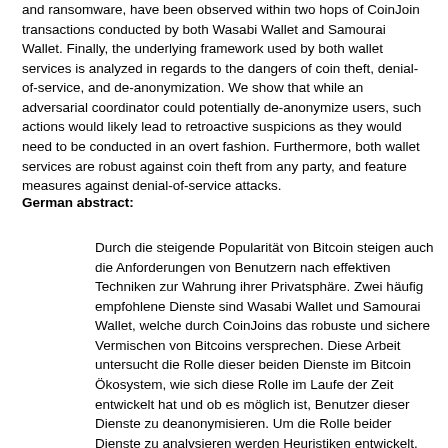and ransomware, have been observed within two hops of CoinJoin transactions conducted by both Wasabi Wallet and Samourai Wallet. Finally, the underlying framework used by both wallet services is analyzed in regards to the dangers of coin theft, denial-of-service, and de-anonymization. We show that while an adversarial coordinator could potentially de-anonymize users, such actions would likely lead to retroactive suspicions as they would need to be conducted in an overt fashion. Furthermore, both wallet services are robust against coin theft from any party, and feature measures against denial-of-service attacks.
German abstract:
Durch die steigende Popularität von Bitcoin steigen auch die Anforderungen von Benutzern nach effektiven Techniken zur Wahrung ihrer Privatsphäre. Zwei häufig empfohlene Dienste sind Wasabi Wallet und Samourai Wallet, welche durch CoinJoins das robuste und sichere Vermischen von Bitcoins versprechen. Diese Arbeit untersucht die Rolle dieser beiden Dienste im Bitcoin Ökosystem, wie sich diese Rolle im Laufe der Zeit entwickelt hat und ob es möglich ist, Benutzer dieser Dienste zu deanonymisieren. Um die Rolle beider Dienste zu analysieren werden Heuristiken entwickelt, welche die CoinJoin Transaktionen von Wasabi Wallet und Samourai Wallet erkennen. Auf Basis der so entdeckten Transaktionen wird sichtbar, dass sowohl die Anzahl der Transaktionen als auch die Anzahl der vermischten Bitcoins stetig wächst, was auf eine wachsende Nutzerbasis hinweist. Darüber hinaus wurden Adressen von Entitäten, welche in Verbindung zu kriminellen Aktivitäten wie Ransomware und Service-Hacks stehen, in der Nähe von CoinJoin Transaktionen beider Dienste identifiziert. Schlussendlich wird das zugrundeliegende System beider